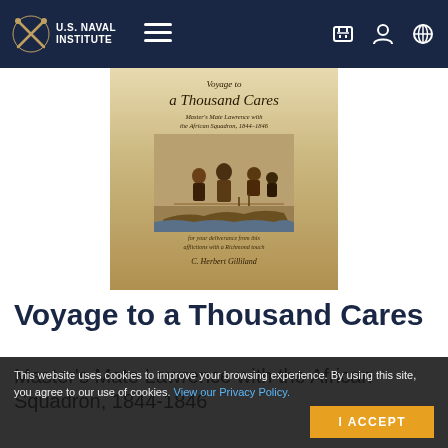U.S. Naval Institute — Navigation Bar
[Figure (photo): Book cover of 'Voyage to a Thousand Cares: Master's Mate Lawrence with the African Squadron, 1844-1846' by C. Herbert Gilliland, showing a historical illustration of enslaved people and a coastal scene, with aged parchment-style background.]
Voyage to a Thousand Cares
Master's Mate Lawrence with the African Squadron, 1844-1846
This website uses cookies to improve your browsing experience. By using this site, you agree to our use of cookies. View our Privacy Policy.